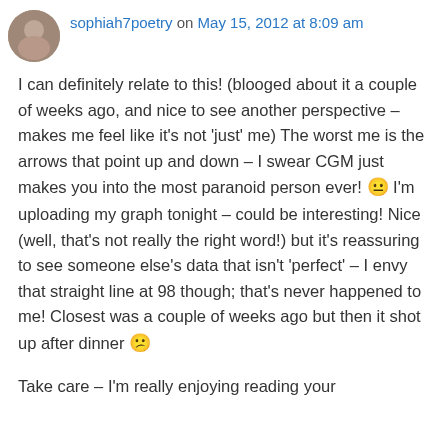sophiah7poetry on May 15, 2012 at 8:09 am
I can definitely relate to this! (blooged about it a couple of weeks ago, and nice to see another perspective – makes me feel like it’s not ‘just’ me) The worst me is the arrows that point up and down – I swear CGM just makes you into the most paranoid person ever! 😐 I’m uploading my graph tonight – could be interesting! Nice (well, that’s not really the right word!) but it’s reassuring to see someone else’s data that isn’t ‘perfect’ – I envy that straight line at 98 though; that’s never happened to me! Closest was a couple of weeks ago but then it shot up after dinner 😕
Take care – I’m really enjoying reading your